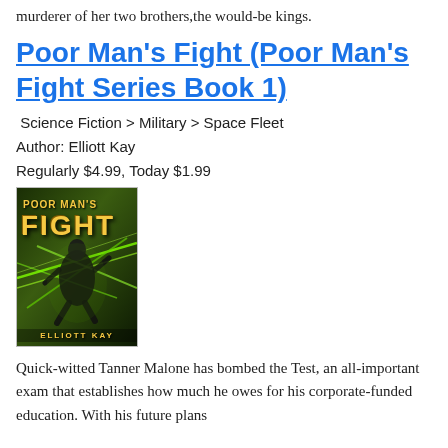murderer of her two brothers,the would-be kings.
Poor Man's Fight (Poor Man's Fight Series Book 1)
Science Fiction > Military > Space Fleet
Author: Elliott Kay
Regularly $4.99, Today $1.99
[Figure (illustration): Book cover of Poor Man's Fight by Elliott Kay showing a figure crouching with green laser/energy beams in a dark atmospheric scene. Title in gold stylized text, author name at bottom.]
Quick-witted Tanner Malone has bombed the Test, an all-important exam that establishes how much he owes for his corporate-funded education. With his future plans